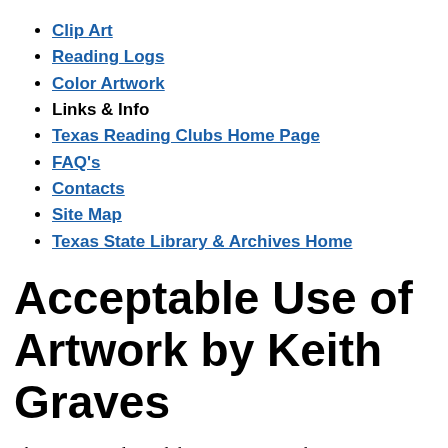Clip Art
Reading Logs
Color Artwork
Links & Info
Texas Reading Clubs Home Page
FAQ's
Contacts
Site Map
Texas State Library & Archives Home
Acceptable Use of Artwork by Keith Graves
The Texas Reading Club 2011 artist, Keith Graves, possesses the copyright to the artwork he created for Dig Up a Good Book! In accordance with the artistic contract with the